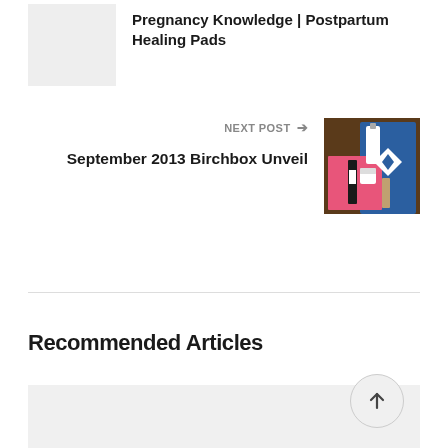[Figure (photo): Thumbnail image placeholder (light gray rectangle) for previous post about Pregnancy Knowledge and Postpartum Healing Pads]
Pregnancy Knowledge | Postpartum Healing Pads
NEXT POST →
[Figure (photo): Photo of Birchbox beauty subscription box contents including pink box, blue bag, and various beauty products]
September 2013 Birchbox Unveil
Recommended Articles
[Figure (photo): Gray placeholder area for recommended article thumbnail]
[Figure (other): Circular scroll-to-top button with upward arrow]